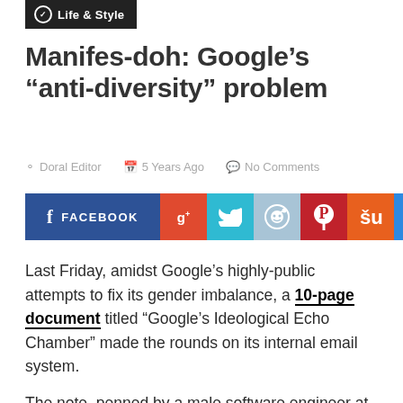Life & Style
Manifes-doh: Google's “anti-diversity” problem
Doral Editor   5 Years Ago   No Comments
[Figure (other): Social share buttons: Facebook, Google+, Twitter, Reddit, Pinterest, StumbleUpon, Email]
Last Friday, amidst Google’s highly-public attempts to fix its gender imbalance, a 10-page document titled “Google’s Ideological Echo Chamber” made the rounds on its internal email system.
The note, penned by a male software engineer at the company, argued that the underrepresentation of women in tech is a result of “inherent psychological differences” between men and women — this position is in...